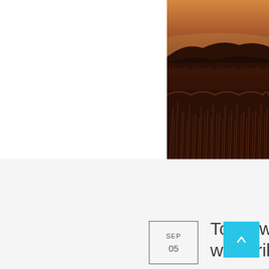[Figure (photo): Landscape photo of golden grassy field at sunset with dark hills and orange sky in background, positioned in upper right of page]
SEP
05
Top 5 water well drilling